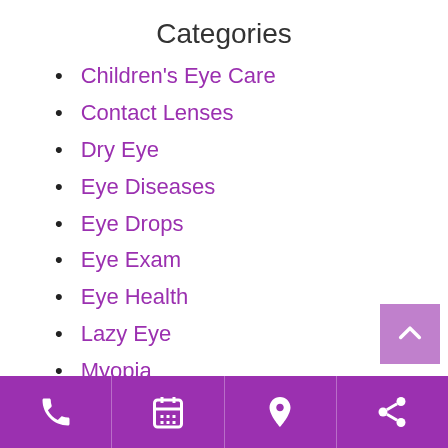Categories
Children's Eye Care
Contact Lenses
Dry Eye
Eye Diseases
Eye Drops
Eye Exam
Eye Health
Lazy Eye
Myopia
Presbyopia
Phone | Calendar | Location | Share